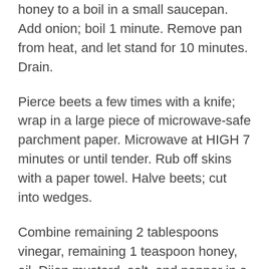honey to a boil in a small saucepan. Add onion; boil 1 minute. Remove pan from heat, and let stand for 10 minutes. Drain.
Pierce beets a few times with a knife; wrap in a large piece of microwave-safe parchment paper. Microwave at HIGH 7 minutes or until tender. Rub off skins with a paper towel. Halve beets; cut into wedges.
Combine remaining 2 tablespoons vinegar, remaining 1 teaspoon honey, oil, Dijon mustard, salt, and pepper in a large bowl. Add beets and kale; toss to coat. Place about 1 1/2 cups kale mixture on each of 4 plates; top each with 3 ounces salmon, about 1/4 cup onion, and 1 tablespoon almonds.